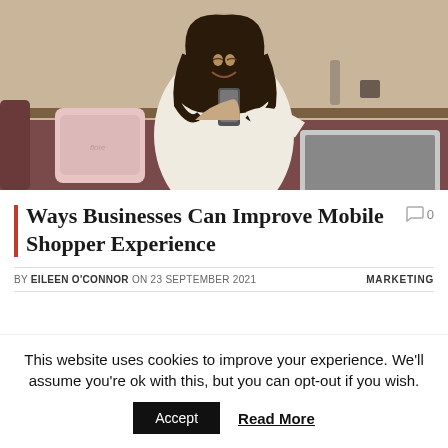[Figure (photo): Woman with dark curly hair smiling and looking at smartphone, sitting on couch with laptop open, pink pillows in background, indoor home setting]
Ways Businesses Can Improve Mobile Shopper Experience
0
BY EILEEN O'CONNOR ON 23 SEPTEMBER 2021  MARKETING
This website uses cookies to improve your experience. We'll assume you're ok with this, but you can opt-out if you wish.
Accept  Read More